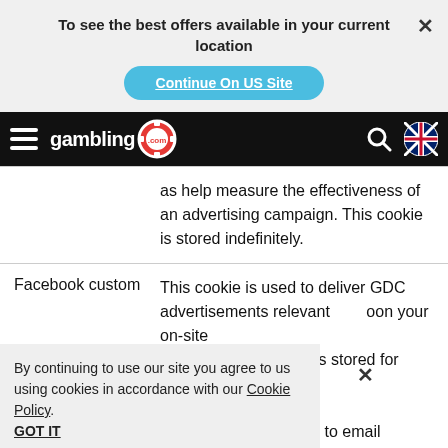To see the best offers available in your current location
Continue On US Site
[Figure (screenshot): Gambling.com navigation bar with hamburger menu, logo with poker chip, search icon, and UK flag icon]
| Cookie | Description |
| --- | --- |
|  | as help measure the effectiveness of an advertising campaign. This cookie is stored indefinitely. |
| Facebook custom | This cookie is used to deliver GDC advertisements relevant based on your on-site activity. This cookie is stored for any use. Custom audiences to deliver advertisements to email |
By continuing to use our site you agree to us using cookies in accordance with our Cookie Policy.
GOT IT